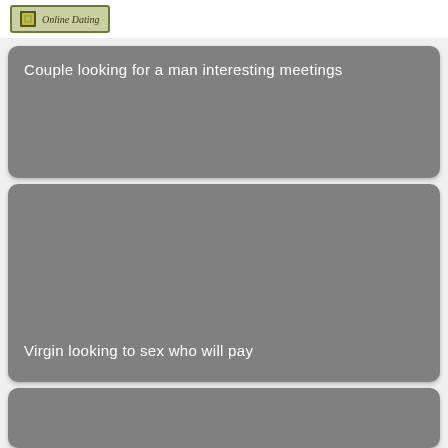Online Dating
Couple looking for a man interesting meetings
Virgin looking to sex who will pay